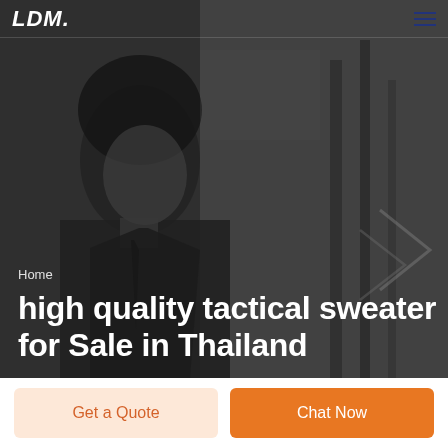LDM [logo] | hamburger menu
[Figure (photo): Dark grayscale hero image of a man in a suit with dark background and vertical poles/equipment visible on the right side]
Home
high quality tactical sweater for Sale in Thailand
Get a Quote
Chat Now